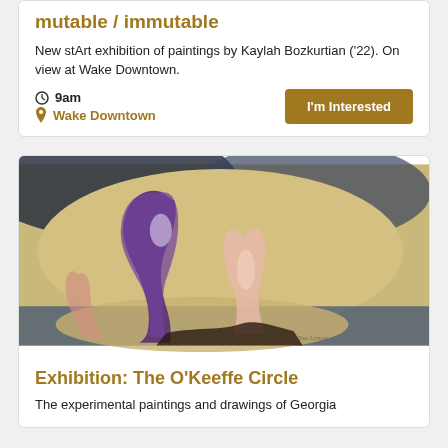mutable / immutable
New stArt exhibition of paintings by Kaylah Bozkurtian ('22). On view at Wake Downtown.
9am
Wake Downtown
[Figure (illustration): Abstract painting with organic shapes, purple/violet flowing form and peach/pink form on a beige/tan background with blue areas, styled like Georgia O'Keeffe artwork]
Exhibition: The O'Keeffe Circle
The experimental paintings and drawings of Georgia